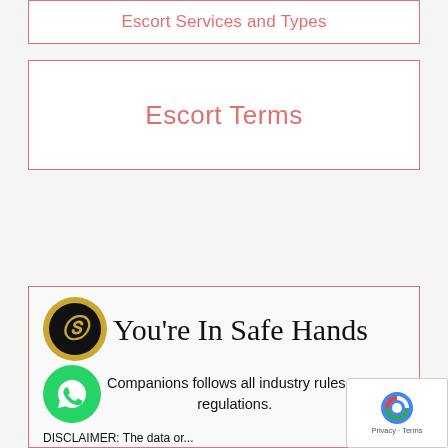Escort Services and Types
Escort Terms
You're In Safe Hands
Companions follows all industry rules and regulations.
DISCLAIMER: The data or...